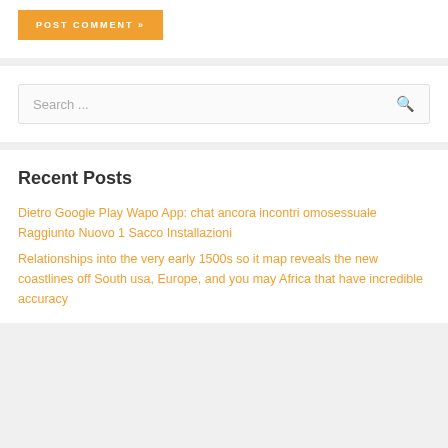POST COMMENT »
Search ...
Recent Posts
Dietro Google Play Wapo App: chat ancora incontri omosessuale Raggiunto Nuovo 1 Sacco Installazioni
Relationships into the very early 1500s so it map reveals the new coastlines off South usa, Europe, and you may Africa that have incredible accuracy